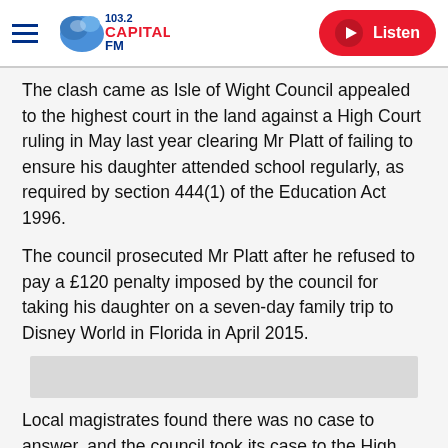103.2 Capital FM — Listen
The clash came as Isle of Wight Council appealed to the highest court in the land against a High Court ruling in May last year clearing Mr Platt of failing to ensure his daughter attended school regularly, as required by section 444(1) of the Education Act 1996.
The council prosecuted Mr Platt after he refused to pay a £120 penalty imposed by the council for taking his daughter on a seven-day family trip to Disney World in Florida in April 2015.
[Figure (other): Advertisement placeholder banner (grey rectangle)]
Local magistrates found there was no case to answer, and the council took its case to the High Court in London.
But two judges, Lord Justice Lloyd Jones and Mrs Justice Thirlwall, upheld the magistrates' decision and declared in